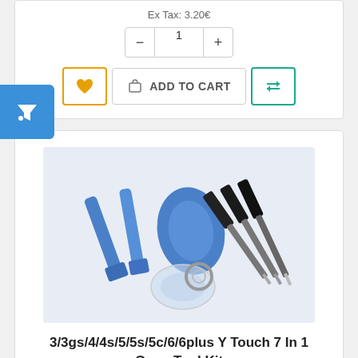Ex Tax: 3.20€
[Figure (screenshot): Quantity selector with minus and plus buttons and value of 1]
[Figure (screenshot): Action buttons: heart/wishlist (orange border), ADD TO CART (with cart icon), compare (teal border with arrows icon)]
[Figure (screenshot): Blue filter button on the left edge with funnel icon]
[Figure (photo): Product photo showing a 7-in-1 phone repair tool kit: two blue pry tools, a blue guitar pick, three black screwdrivers, and a suction cup]
3/3gs/4/4s/5/5s/5c/6/6plus Y Touch 7 In 1 Open Tool Kit
O030305
* New generic LCD Screen Repair Tools * Ideal Tool for Repairing your